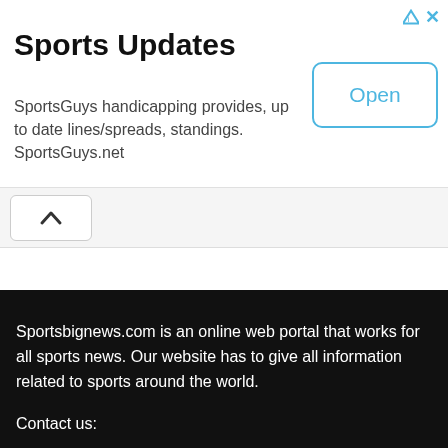Sports Updates
SportsGuys handicapping provides, up to date lines/spreads, standings. SportsGuys.net
[Figure (other): Open button with blue border]
[Figure (other): Chevron up arrow button in white rounded box]
Sportsbignews.com is an online web portal that works for all sports news. Our website has to give all information related to sports around the world.
Contact us: